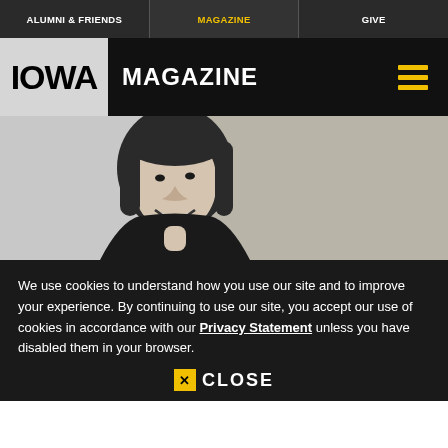ALUMNI & FRIENDS | MAGAZINE | GIVE
IOWA MAGAZINE
[Figure (photo): Black and white portrait photo of a smiling woman with dark chin-length hair]
We use cookies to understand how you use our site and to improve your experience. By continuing to use our site, you accept our use of cookies in accordance with our Privacy Statement unless you have disabled them in your browser.
CLOSE